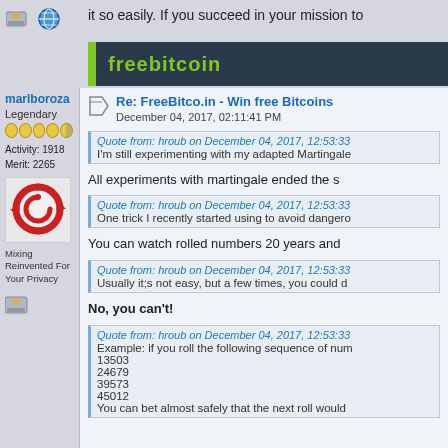it so easily. If you succeed in your mission to
[Figure (screenshot): Freebitcoin banner logo with green bar and dark background]
marlboroza
Legendary
Activity: 1918
Merit: 2265
[Figure (illustration): Red circular arrows logo - Mixing Reinvented For Your Privacy]
Mixing Reinvented For Your Privacy
Re: FreeBitco.in - Win free Bitcoins
December 04, 2017, 02:11:41 PM
Quote from: hroub on December 04, 2017, 12:53:33
I'm still experimenting with my adapted Martingale
All experiments with martingale ended the s
Quote from: hroub on December 04, 2017, 12:53:33
One trick I recently started using to avoid dangero
You can watch rolled numbers 20 years and
Quote from: hroub on December 04, 2017, 12:53:33
Usually it;s not easy, but a few times, you could d
No, you can't!
Quote from: hroub on December 04, 2017, 12:53:33
Example: if you roll the following sequence of num
13503
24679
39573
45012
You can bet almost safely that the next roll would